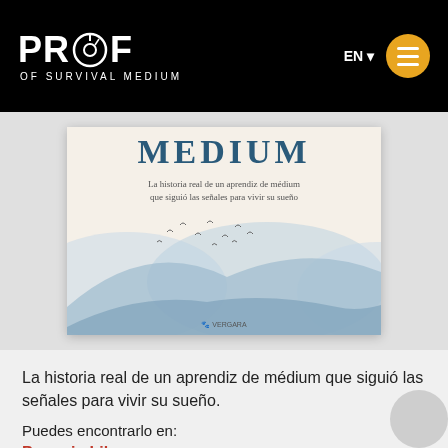PROOF OF SURVIVAL MEDIUM
[Figure (illustration): Book cover showing 'MEDIUM' title with subtitle 'La historia real de un aprendiz de médium que siguió las señales para vivir su sueño' and a misty mountain landscape illustration with birds, published by Vergara]
La historia real de un aprendiz de médium que siguió las señales para vivir su sueño.
Puedes encontrarlo en:
Penguin Libros